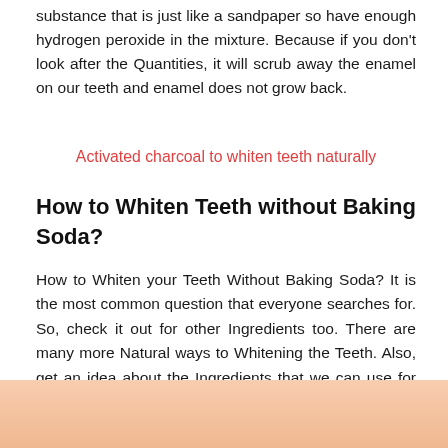substance that is just like a sandpaper so have enough hydrogen peroxide in the mixture. Because if you don't look after the Quantities, it will scrub away the enamel on our teeth and enamel does not grow back.
Activated charcoal to whiten teeth naturally
How to Whiten Teeth without Baking Soda?
How to Whiten your Teeth Without Baking Soda? It is the most common question that everyone searches for. So, check it out for other Ingredients too. There are many more Natural ways to Whitening the Teeth. Also, get an idea about the Ingredients that we can use for our Teeth Whitening.
[Figure (photo): Close-up photo of a person's face, showing skin tones in peach/beige colors at the bottom of the page.]